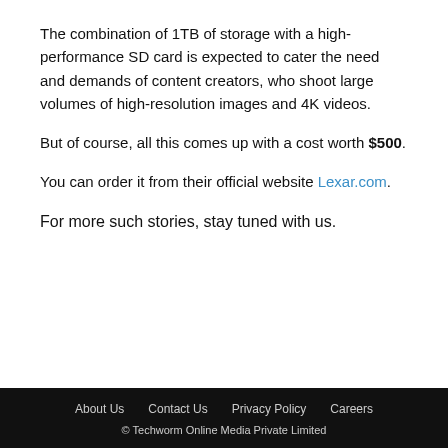The combination of 1TB of storage with a high-performance SD card is expected to cater the need and demands of content creators, who shoot large volumes of high-resolution images and 4K videos.
But of course, all this comes up with a cost worth $500.
You can order it from their official website Lexar.com.
For more such stories, stay tuned with us.
About Us   Contact Us   Privacy Policy   Careers
© Techworm Online Media Private Limited